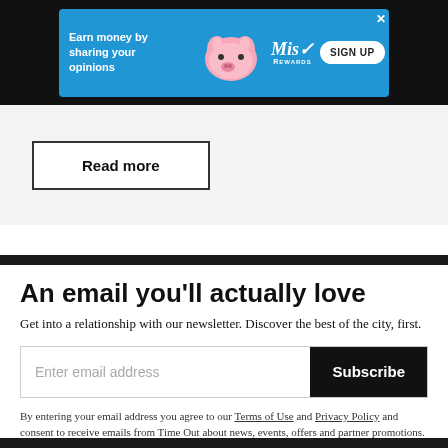[Figure (other): Advertisement banner: blue background with pink pig illustration, 'Earn money by sharing your opinions' text, MisRewards logo, and SIGN UP button]
Read more
An email you'll actually love
Get into a relationship with our newsletter. Discover the best of the city, first.
Enter email address
Subscribe
By entering your email address you agree to our Terms of Use and Privacy Policy and consent to receive emails from Time Out about news, events, offers and partner promotions.